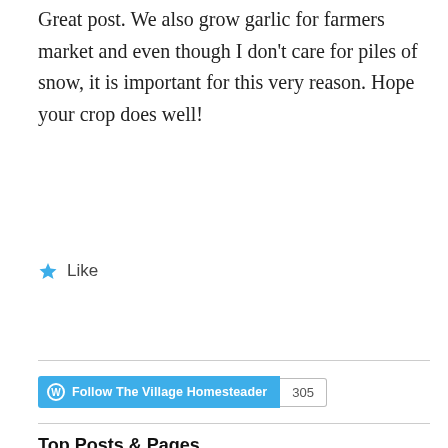Great post. We also grow garlic for farmers market and even though I don’t care for piles of snow, it is important for this very reason. Hope your crop does well!
★ Like
Follow The Village Homesteader  305
Top Posts & Pages
[Figure (photo): Bowl of sliced zucchini or cucumber coins in liquid]
How We Reduced Our Food Spending
[Figure (photo): Partial image of another post thumbnail (cut off at bottom)]